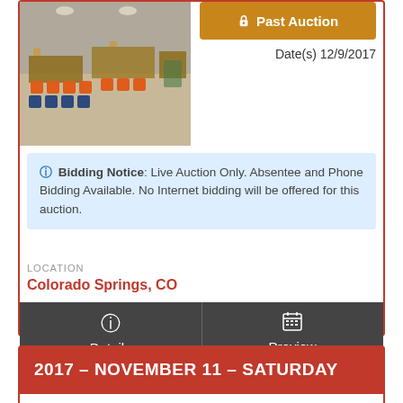[Figure (photo): Auction hall interior with rows of orange and blue chairs, tables with items for auction]
Past Auction
Date(s) 12/9/2017
Bidding Notice: Live Auction Only. Absentee and Phone Bidding Available. No Internet bidding will be offered for this auction.
LOCATION
Colorado Springs, CO
Details
Preview
2017 - NOVEMBER 11 - SATURDAY
[Figure (photo): Auction hall interior with leather sectional sofa, wooden furniture and chairs]
Past Auction
Date(s) 11/11/2017